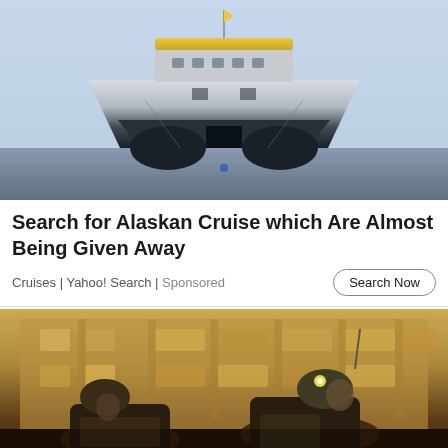[Figure (photo): Front bow view of a large modern ship/ferry on water, with gray and dark blue hull and yellow stripe on top, viewed from the front on calm blue-gray water]
Search for Alaskan Cruise which Are Almost Being Given Away
Cruises | Yahoo! Search | Sponsored
[Figure (photo): Military soldiers in combat gear and helmets at night in front of illuminated building, appearing to be on a vehicle or tank]